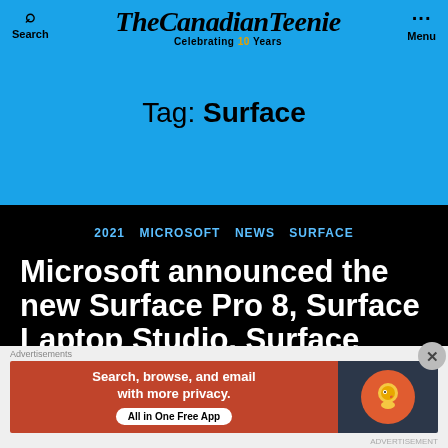TheCanadianTeenie — Celebrating 10 Years — Search — Menu
Tag: Surface
2021  MICROSOFT  NEWS  SURFACE
Microsoft announced the new Surface Pro 8, Surface Laptop Studio, Surface Duo
[Figure (other): DuckDuckGo advertisement banner: 'Search, browse, and email with more privacy. All in One Free App' with DuckDuckGo logo]
Advertisements